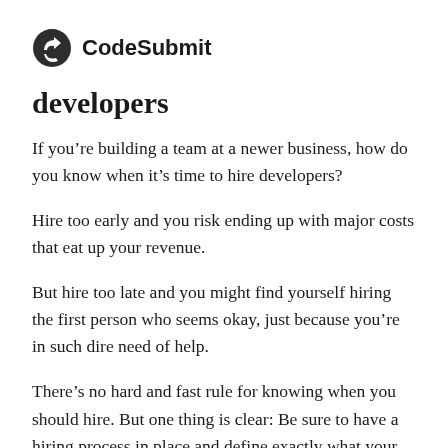CodeSubmit
developers
If you’re building a team at a newer business, how do you know when it’s time to hire developers?
Hire too early and you risk ending up with major costs that eat up your revenue.
But hire too late and you might find yourself hiring the first person who seems okay, just because you’re in such dire need of help.
There’s no hard and fast rule for knowing when you should hire. But one thing is clear: Be sure to have a hiring process in place and define exactly what your